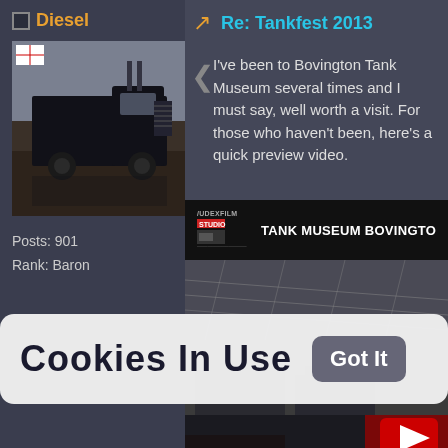Diesel
[Figure (photo): Avatar photo of a black semi truck / big rig in a desert setting, with English flag icon in top-left corner]
Posts: 901
Rank: Baron
Re: Tankfest 2013
I've been to Bovington Tank Museum seve... must say, well worth a visit. For those who... here's a quick preview video.
[Figure (screenshot): Embedded YouTube video thumbnail showing 'TANK MUSEUM BOVINGTON' with JUDEXFILM STUDIO channel logo and YouTube play button visible]
Cookies In Use
Got It